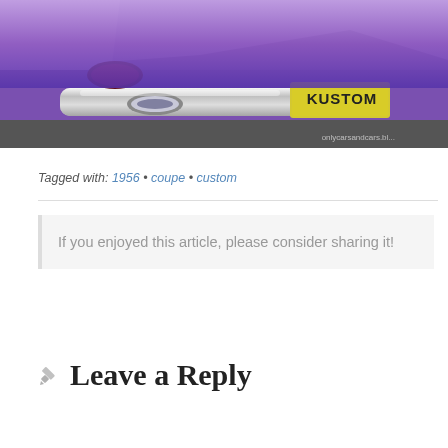[Figure (photo): Rear view of a purple custom car with chrome bumper and 'KUSTOM' license plate, parked on asphalt. Watermark reads 'onlycarsandcars.bl...']
Tagged with: 1956 • coupe • custom
If you enjoyed this article, please consider sharing it!
Leave a Reply